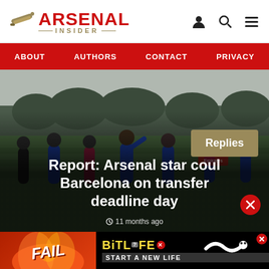Arsenal Insider — logo with cannon icon, navigation icons
ABOUT   AUTHORS   CONTACT   PRIVACY
[Figure (photo): Arsenal football players training on a pitch, wearing blue kits, outdoors with trees in background. Overlaid with article headline and a gold 'Replies' button.]
Report: Arsenal star could join Barcelona on transfer deadline day
11 months ago
[Figure (advertisement): BitLife game advertisement with 'FAIL' text on orange/red background, flame graphics, and 'START A NEW LIFE' text on black background]